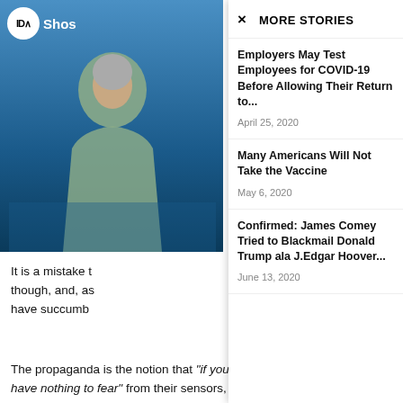[Figure (screenshot): News website screenshot showing a video thumbnail with a person and a logo overlay with 'IDA' and 'Shos' text, blue background]
MORE STORIES
Employers May Test Employees for COVID-19 Before Allowing Their Return to...
April 25, 2020
Many Americans Will Not Take the Vaccine
May 6, 2020
Confirmed: James Comey Tried to Blackmail Donald Trump ala J.Edgar Hoover...
June 13, 2020
It is a mistake t though, and, as have succumb
The propaganda is the notion that "if you have nothing to hide you have nothing to fear" from their sensors, their devices and their